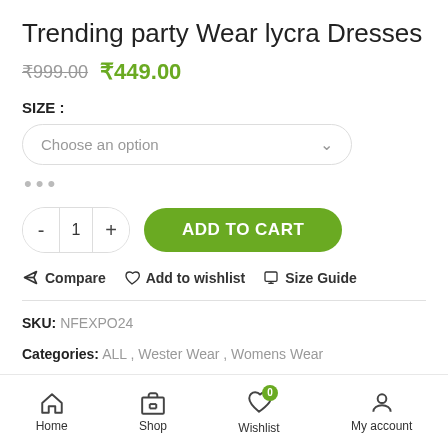Trending party Wear lycra Dresses
₹999.00  ₹449.00
SIZE :
Choose an option
•••
- 1 + ADD TO CART
Compare  Add to wishlist  Size Guide
SKU: NFEXPO24
Categories: ALL , Wester Wear , Womens Wear
Tags: Party Wear , top , weastern wear , WOMEN WEAR , womenshirt
Home  Shop  Wishlist  My account